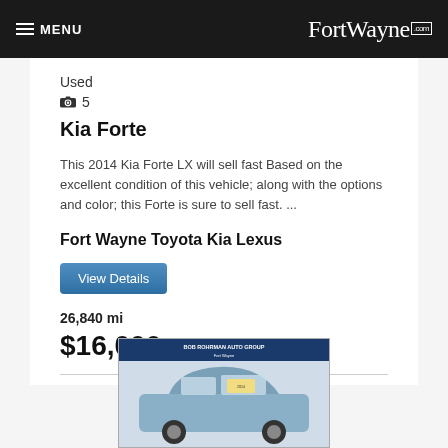MENU  FortWayne.com
Used
📷 5
Kia Forte
This 2014 Kia Forte LX will sell fast Based on the excellent condition of this vehicle; along with the options and color; this Forte is sure to sell fast. ...
Fort Wayne Toyota Kia Lexus
View Details
26,840 mi
$16,000
[Figure (photo): Photo of a blue/silver SUV (Subaru Outback) with Bob Rohrman Auto Group dealership branding at the top of the image]